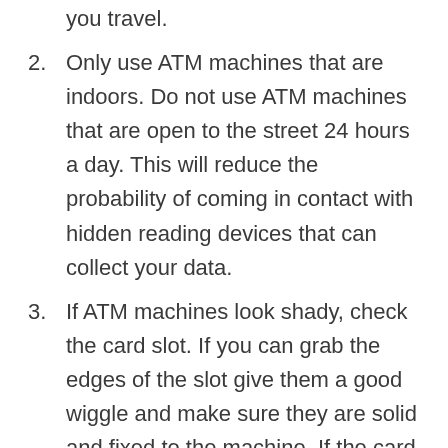you travel.
2. Only use ATM machines that are indoors. Do not use ATM machines that are open to the street 24 hours a day. This will reduce the probability of coming in contact with hidden reading devices that can collect your data.
3. If ATM machines look shady, check the card slot. If you can grab the edges of the slot give them a good wiggle and make sure they are solid and fixed to the machine. If the card slot seems separate and wiggles, don't use it.
4. Protect your PIN. The other common ATM